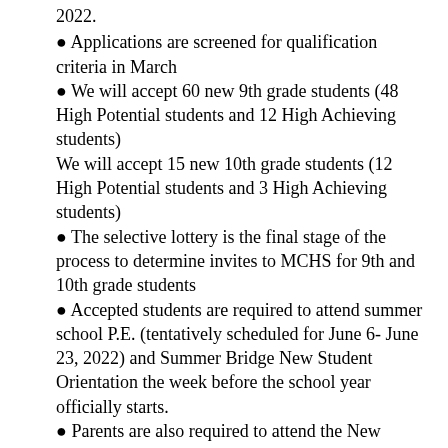2022.
Applications are screened for qualification criteria in March
We will accept 60 new 9th grade students (48 High Potential students and 12 High Achieving students)
We will accept 15 new 10th grade students (12 High Potential students and 3 High Achieving students)
The selective lottery is the final stage of the process to determine invites to MCHS for 9th and 10th grade students
Accepted students are required to attend summer school P.E. (tentatively scheduled for June 6- June 23, 2022) and Summer Bridge New Student Orientation the week before the school year officially starts.
Parents are also required to attend the New Parent Orientation the Mo...